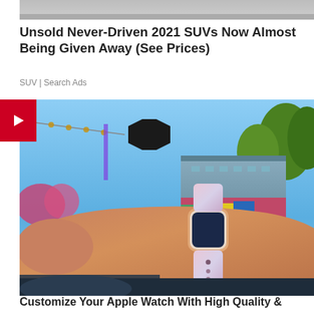[Figure (photo): Top portion of an advertisement image, partially cut off at the top of the page]
Unsold Never-Driven 2021 SUVs Now Almost Being Given Away (See Prices)
SUV | Search Ads
[Figure (photo): A person's wrist wearing an Apple Watch with a pink/white silicone band, outdoors with blue sky, trees, and a building in the background. A black octagonal sign is visible.]
Customize Your Apple Watch With High Quality &